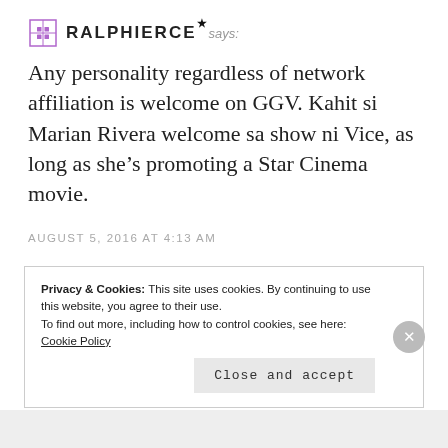RALPHIERCE says:
Any personality regardless of network affiliation is welcome on GGV. Kahit si Marian Rivera welcome sa show ni Vice, as long as she's promoting a Star Cinema movie.
AUGUST 5, 2016 AT 4:13 AM
Privacy & Cookies: This site uses cookies. By continuing to use this website, you agree to their use.
To find out more, including how to control cookies, see here: Cookie Policy
Close and accept